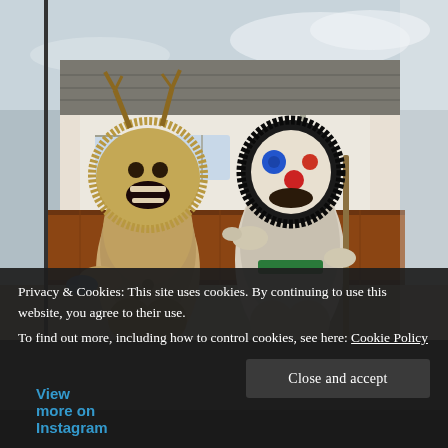[Figure (photo): Two people in elaborate traditional Eastern European folk costumes with furry/straw suits and grotesque animal masks. The left figure has a large shaggy beast mask with antlers and open jaw showing teeth; wears heavy fur coat, blue gloves, holds decorative items. The right figure has a black-and-white shaggy mask with blue and red circular decorations (eyes/nose), holds a long wooden staff/stick. Background shows a white building with tiled roof and wooden fence. Outdoor daylight setting.]
Privacy & Cookies: This site uses cookies. By continuing to use this website, you agree to their use.
To find out more, including how to control cookies, see here: Cookie Policy
View more on Instagram